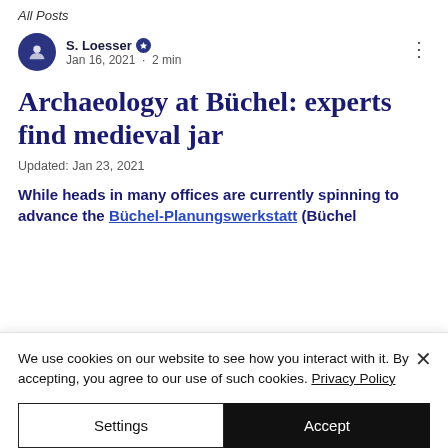All Posts
S. Loesser ★  Jan 16, 2021 · 2 min
Archaeology at Büchel: experts find medieval jar
Updated: Jan 23, 2021
While heads in many offices are currently spinning to advance the Büchel-Planungswerkstatt (Büchel
We use cookies on our website to see how you interact with it. By accepting, you agree to our use of such cookies. Privacy Policy